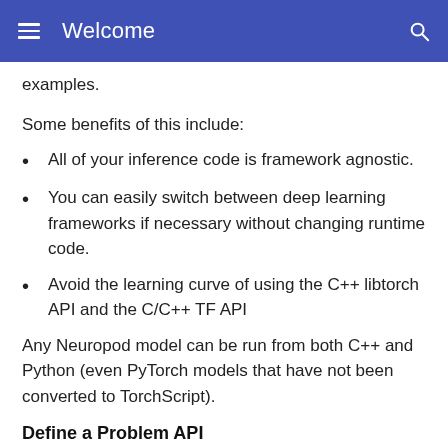Welcome
examples.
Some benefits of this include:
All of your inference code is framework agnostic.
You can easily switch between deep learning frameworks if necessary without changing runtime code.
Avoid the learning curve of using the C++ libtorch API and the C/C++ TF API
Any Neuropod model can be run from both C++ and Python (even PyTorch models that have not been converted to TorchScript).
Define a Problem API